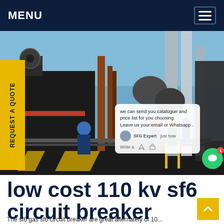MENU
[Figure (photo): Industrial site photo showing workers in hard hats and work suits walking through a heavy industrial facility with large pipes, metallic structures, scaffolding, and electrical equipment under a blue sky.]
REQUEST A QUOTE
we can send you catalogue and price list for you choosing. Leave us your email or Whatsapp . SFG Expert just now Write a
low cost 110 kv sf6 circuit breaker Finland
The sf6 gas sf6 circuit breaker are great alternately of 10...